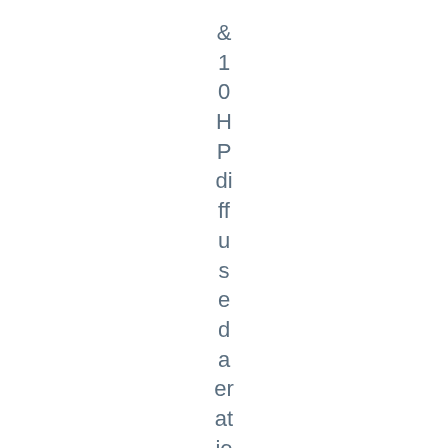& 1 0 H P di ff u s e d a er at io n